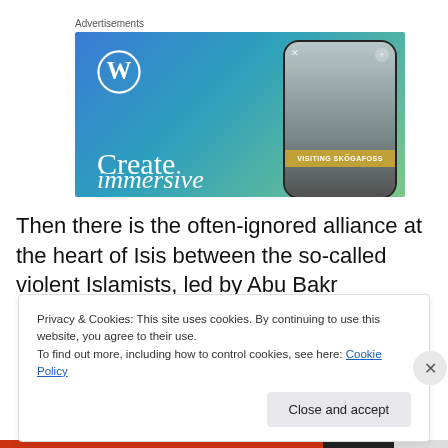Advertisements
[Figure (screenshot): WordPress advertisement banner showing WordPress logo, 'Create immersive' text, and a phone displaying 'VISITING SKÖGAFOSS']
Then there is the often-ignored alliance at the heart of Isis between the so-called violent Islamists, led by Abu Bakr
Privacy & Cookies: This site uses cookies. By continuing to use this website, you agree to their use.
To find out more, including how to control cookies, see here: Cookie Policy
Close and accept